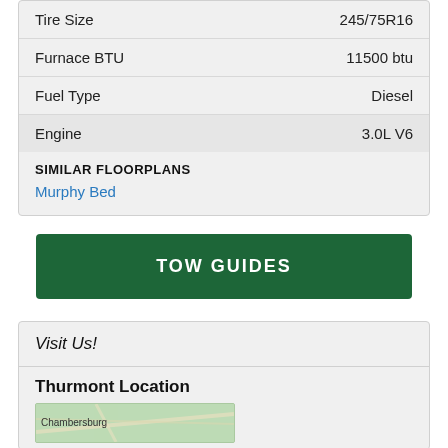| Spec | Value |
| --- | --- |
| Tire Size | 245/75R16 |
| Furnace BTU | 11500 btu |
| Fuel Type | Diesel |
| Engine | 3.0L V6 |
SIMILAR FLOORPLANS
Murphy Bed
TOW GUIDES
Visit Us!
Thurmont Location
[Figure (map): Map showing area near Chambersburg]